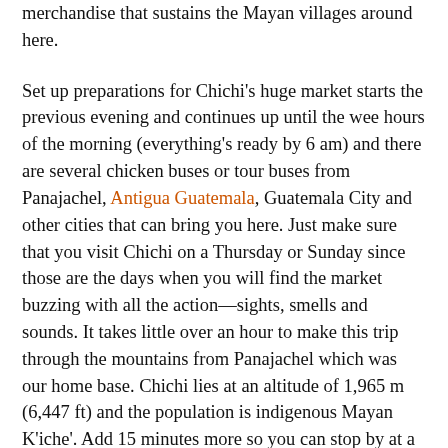merchandise that sustains the Mayan villages around here.
Set up preparations for Chichi's huge market starts the previous evening and continues up until the wee hours of the morning (everything's ready by 6 am) and there are several chicken buses or tour buses from Panajachel, Antigua Guatemala, Guatemala City and other cities that can bring you here. Just make sure that you visit Chichi on a Thursday or Sunday since those are the days when you will find the market buzzing with all the action—sights, smells and sounds. It takes little over an hour to make this trip through the mountains from Panajachel which was our home base. Chichi lies at an altitude of 1,965 m (6,447 ft) and the population is indigenous Mayan K'iche'. Add 15 minutes more so you can stop by at a pullout that offers a spectacular view of Lake Atitlán along with the Mayan villages that dot its shores and the grand mountains that surround the magnificent lake.
We reached Chici at around 9 am on a Sunday morning in a private minibus as we made our way though the busy traffic. After alighting from our minibus, the next challenge was to dodge the numerous tuktuks and chicken buses that sped through the streets as if they were driving on a F1 circuit. Fortunately, there was a traffic cop at one of the entry points to the market, and we managed to cross the street rather than get run over and find ourselves hanging next to the chickens sold in the market! We started our